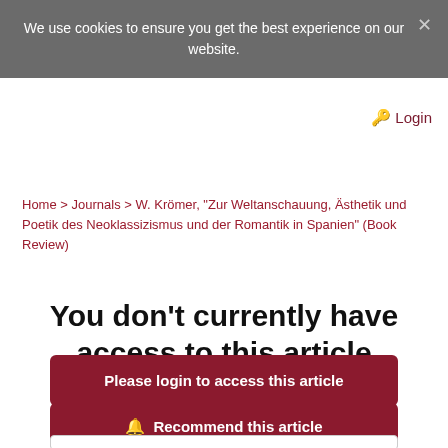We use cookies to ensure you get the best experience on our website.
Login
Home > Journals > W. Krömer, "Zur Weltanschauung, Ästhetik und Poetik des Neoklassizismus und der Romantik in Spanien" (Book Review)
You don't currently have access to this article
Please login to access this article
Recommend this article